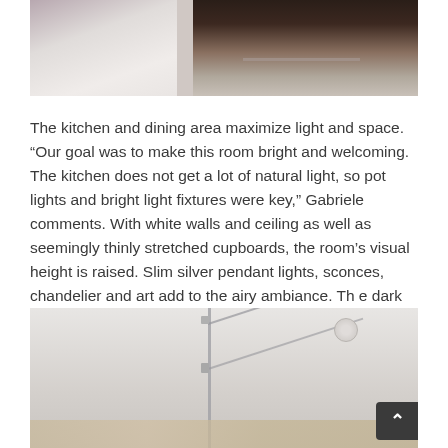[Figure (photo): Top portion of a room photo showing white fabric/pillow on left and a dark wooden chair back on the right, against a light wall.]
The kitchen and dining area maximize light and space. “Our goal was to make this room bright and welcoming. The kitchen does not get a lot of natural light, so pot lights and bright light fixtures were key,” Gabriele comments. With white walls and ceiling as well as seemingly thinly stretched cupboards, the room’s visual height is raised. Slim silver pendant lights, sconces, chandelier and art add to the airy ambiance. Th e dark contrast of the oak floors and furniture also ‘raise’ the ceiling’s height. “Th e ability to tolerate heavy traffic,” the Brazels comment, “helped in the choice of materials.
[Figure (photo): Bottom photo showing a bathroom or shower area with glass panels and chrome hardware, light walls and ceiling with a recessed light.]